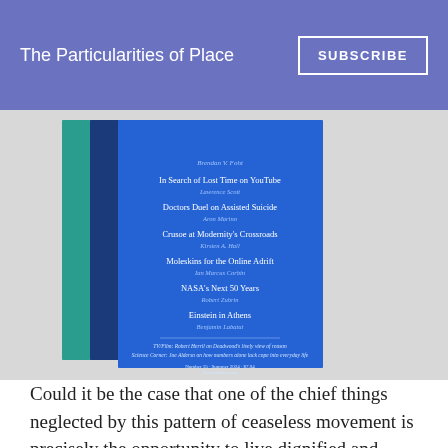The Particularities of Place
[Figure (photo): Stacked magazine covers in blue and green colors, showing a table of contents with article titles including 'In Search of Lost Time on YouTube', 'Doctors Duel on Assisted Suicide', 'Crusoe at Modernity's Crossroads', 'Moleskins for the Online Adrift', 'NASA's Next 50 Years', 'Einstein in Athens']
Could it be the case that one of the chief things neglected by this pattern of ceaseless movement is precisely the opportunity to live dignified and purposeful lives of self-government and civic engagement, the kind of lives that thinkers since the